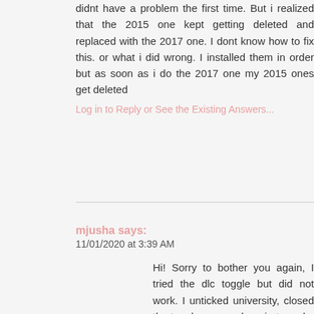didnt have a problem the first time. But i realized that the 2015 one kept getting deleted and replaced with the 2017 one. I dont know how to fix this. or what i did wrong. I installed them in order but as soon as i do the 2017 one my 2015 ones get deleted
Log in to Reply or See the Existing Answers...
mjusha says:
11/01/2020 at 3:39 AM
Hi! Sorry to bother you again, I tried the dlc toggle but did not work. I unticked university, closed the toggler, opened again to make sure it would stay unticked, but it was still enabled. I tried doing that and even enabled it like you said...